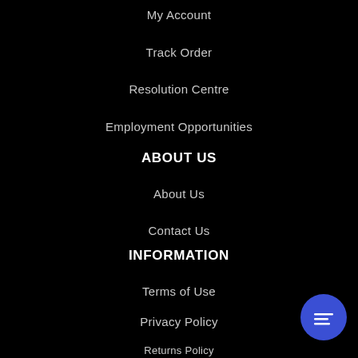My Account
Track Order
Resolution Centre
Employment Opportunities
ABOUT US
About Us
Contact Us
INFORMATION
Terms of Use
Privacy Policy
Returns Policy
Security Policy
[Figure (illustration): Blue circular chat button with message icon in bottom right corner]